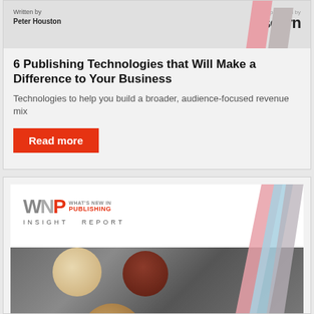[Figure (illustration): Top portion of a report cover with decorative pink and gray diagonal bars, author credit Peter Houston and Sovrn sponsor logo]
6 Publishing Technologies that Will Make a Difference to Your Business
Technologies to help you build a broader, audience-focused revenue mix
Read more
[Figure (illustration): What's New In Publishing Insight Report cover with WNP logo, decorative pink, blue, and gray diagonal bars, and cookie/food photo background]